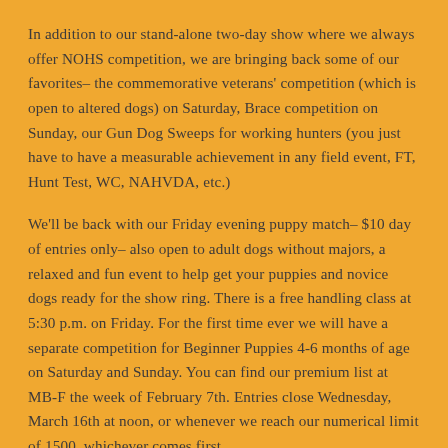In addition to our stand-alone two-day show where we always offer NOHS competition, we are bringing back some of our favorites– the commemorative veterans' competition (which is open to altered dogs) on Saturday, Brace competition on Sunday, our Gun Dog Sweeps for working hunters (you just have to have a measurable achievement in any field event, FT, Hunt Test, WC, NAHVDA, etc.)
We'll be back with our Friday evening puppy match– $10 day of entries only– also open to adult dogs without majors, a relaxed and fun event to help get your puppies and novice dogs ready for the show ring. There is a free handling class at 5:30 p.m. on Friday. For the first time ever we will have a separate competition for Beginner Puppies 4-6 months of age on Saturday and Sunday. You can find our premium list at MB-F the week of February 7th. Entries close Wednesday, March 16th at noon, or whenever we reach our numerical limit of 1500, whichever comes first.